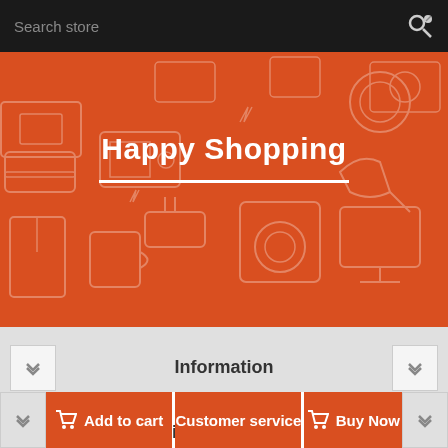Search store
Happy Shopping
Information
Quick Information
Add to cart
Customer service
Buy Now